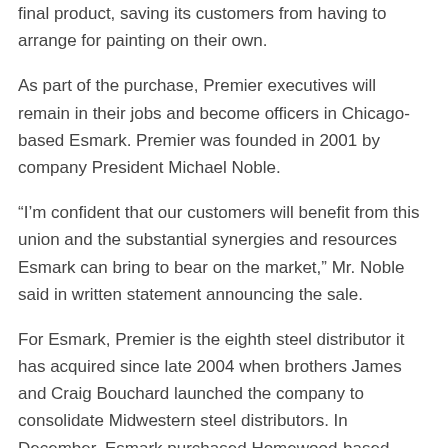final product, saving its customers from having to arrange for painting on their own.
As part of the purchase, Premier executives will remain in their jobs and become officers in Chicago-based Esmark. Premier was founded in 2001 by company President Michael Noble.
“I’m confident that our customers will benefit from this union and the substantial synergies and resources Esmark can bring to bear on the market,” Mr. Noble said in written statement announcing the sale.
For Esmark, Premier is the eighth steel distributor it has acquired since late 2004 when brothers James and Craig Bouchard launched the company to consolidate Midwestern steel distributors. In December, Esmark purchased Homewood-based North American Steel LLC. The Premier purchase is expected to push